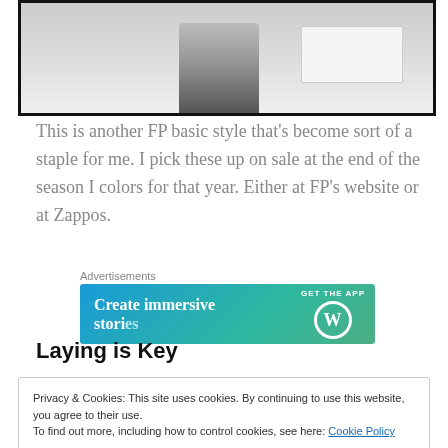[Figure (screenshot): Screenshot of a webpage with a person and a screen visible inside a black-bordered box]
This is another FP basic style that's become sort of a staple for me. I pick these up on sale at the end of the season I colors for that year. Either at FP's website or at Zappos.
[Figure (screenshot): Advertisement banner: Create immersive stories — GET THE APP with WordPress logo]
Laying is Key
Privacy & Cookies: This site uses cookies. By continuing to use this website, you agree to their use.
To find out more, including how to control cookies, see here: Cookie Policy
Close and accept
perfect slip or cami to pair it with!